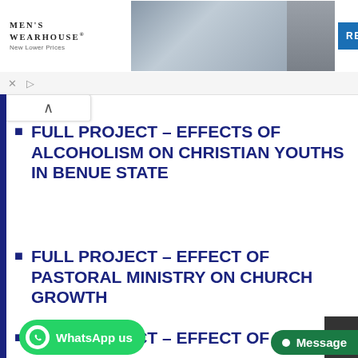[Figure (photo): Men's Wearhouse advertisement banner showing a couple in formalwear and a man in a suit, with RENT button]
FULL PROJECT – EFFECTS OF ALCOHOLISM ON CHRISTIAN YOUTHS IN BENUE STATE
FULL PROJECT – EFFECT OF PASTORAL MINISTRY ON CHURCH GROWTH
FULL PROJECT – EFFECT OF PASTORAL...
[Figure (screenshot): WhatsApp us button (green) and Message button (dark green)]